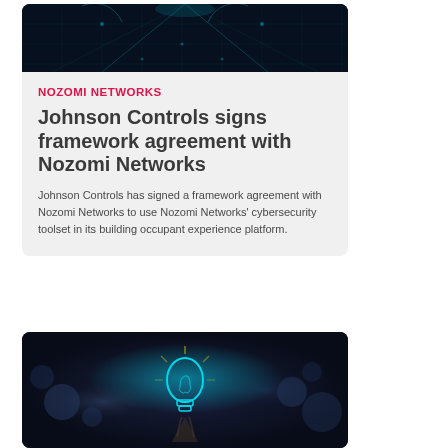[Figure (photo): Dark cybersecurity themed image with glowing cyan circuit board patterns and teal digital elements on dark background]
NOZOMI NETWORKS
Johnson Controls signs framework agreement with Nozomi Networks
Johnson Controls has signed a framework agreement with Nozomi Networks to use Nozomi Networks' cybersecurity toolset in its building occupant experience platform.
[Figure (photo): Dark bokeh background with a glowing cyan brain inside a light bulb being held by a hand, concept of AI and innovation]